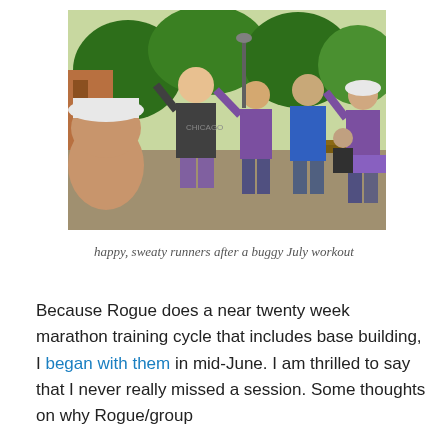[Figure (photo): Group of happy, sweaty runners posing and flexing in a park after a workout. One person is taking a selfie in the foreground. Trees and green grass visible in the background. Several runners wearing purple, blue, and grey athletic clothing.]
happy, sweaty runners after a buggy July workout
Because Rogue does a near twenty week marathon training cycle that includes base building, I began with them in mid-June. I am thrilled to say that I never really missed a session. Some thoughts on why Rogue/group